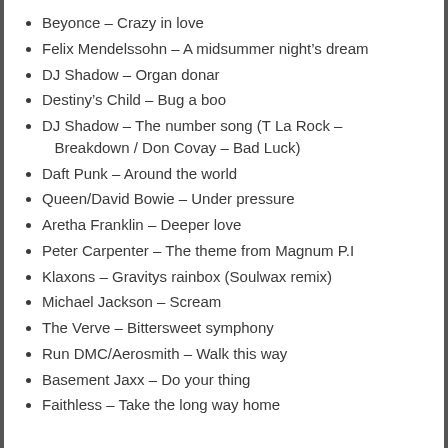Beyonce – Crazy in love
Felix Mendelssohn – A midsummer night's dream
DJ Shadow – Organ donar
Destiny's Child – Bug a boo
DJ Shadow – The number song (T La Rock – Breakdown / Don Covay – Bad Luck)
Daft Punk – Around the world
Queen/David Bowie – Under pressure
Aretha Franklin – Deeper love
Peter Carpenter – The theme from Magnum P.I
Klaxons – Gravitys rainbox (Soulwax remix)
Michael Jackson – Scream
The Verve – Bittersweet symphony
Run DMC/Aerosmith – Walk this way
Basement Jaxx – Do your thing
Faithless – Take the long way home